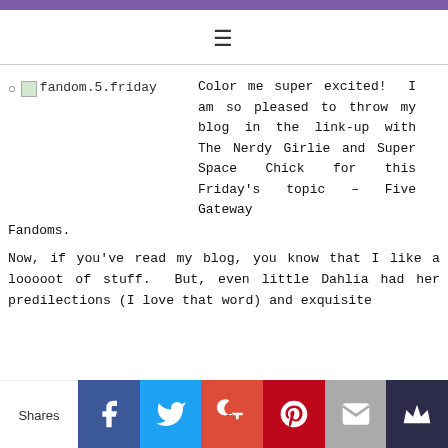≡
fandom.5.friday
Color me super excited! I am so pleased to throw my blog in the link-up with The Nerdy Girlie and Super Space Chick for this Friday's topic – Five Gateway Fandoms.
Now, if you've read my blog, you know that I like a looooot of stuff. But, even little Dahlia had her predilections (I love that word) and exquisite
Shares | Facebook | Twitter | Google+ | Pinterest | Email | Crown